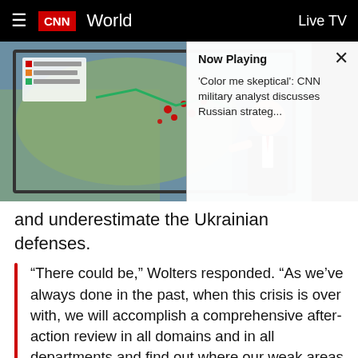CNN World   Live TV
[Figure (screenshot): CNN video thumbnail showing a military analyst at a map display with Ukraine conflict graphics. An overlay panel shows 'Now Playing' with title: 'Color me skeptical': CNN military analyst discusses Russian strateg...]
and underestimate the Ukrainian defenses.
“There could be,” Wolters responded. “As we’ve always done in the past, when this crisis is over with, we will accomplish a comprehensive after-action review in all domains and in all departments and find out where our weak areas were and make sure we can find ways to improve, and this could be one of those areas.”
While US intelligence was spot on in predicting Russia was planning to invade Ukraine —which the Biden administration…